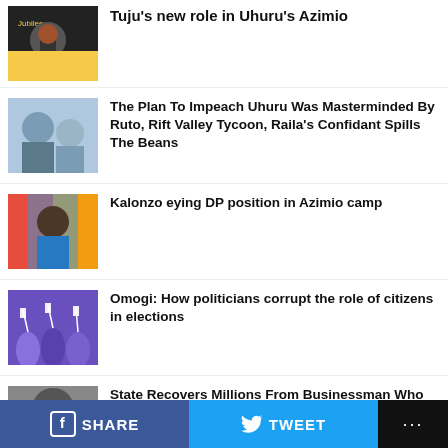[Figure (photo): Man in suit at Jubilee event]
Tuju's new role in Uhuru's Azimio
[Figure (photo): Two men in discussion]
The Plan To Impeach Uhuru Was Masterminded By Ruto, Rift Valley Tycoon, Raila's Confidant Spills The Beans
[Figure (photo): Kalonzo Musyoka at a rally]
Kalonzo eying DP position in Azimio camp
[Figure (illustration): Purple silhouette crowd with flags]
Omogi: How politicians corrupt the role of citizens in elections
[Figure (photo): Close-up of person's eyes in black and white]
State Recovers Millions From Businessman Who Stole From
SHARE   TWEET   ...